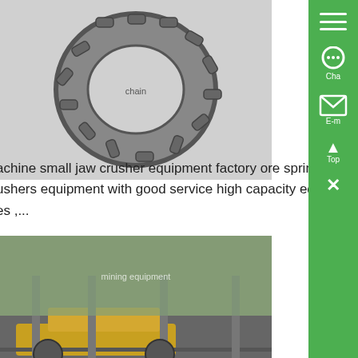[Figure (photo): A metal roller chain coiled in a circle, photographed against a white background.]
jaw crusher s for gold mining Kenya - Know More
Kenya Gold Mining Crushing Equipment Gold Crusher 26/03/2021 good performance gold mining ore jaw crusher machine in ke Low cost aluminum ore tph jaw crusher equipment price high safety rock ore proc
achine small jaw crusher equipment factory ore spring cone crusher mining ushers equipment with good service high capacity equipment used in mini es ,...
[Figure (photo): Industrial gold mining wash plant machinery inside a large warehouse facility, with yellow conveyors and heavy equipment.]
Gold Mining Equipment Gold Wash Plant for Sale - Know More
Gold mining equipment The gold mining equipment includes jaw crusher, hammer crusher, roller crusher, impact crusher, ve crusher, cone crusher, ball mill, vibrating s